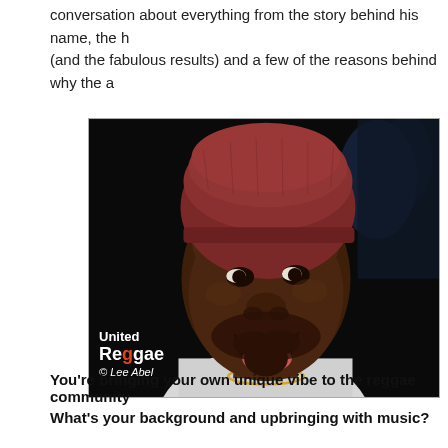conversation about everything from the story behind his name, the h (and the fabulous results) and a few of the reasons behind why the a
[Figure (photo): Close-up photo of a Black man wearing a dark red/maroon knit beanie hat, mouth open, with a beard, wearing a white shirt and gold chain necklace. Dark background. Watermark shows 'United Reggae © Lee Abel' in bottom left corner.]
You're bringing your own unique vibe to the reggae community What's your background and upbringing with music?